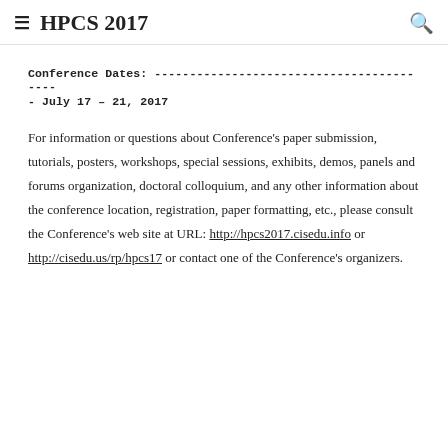≡  HPCS 2017
Conference Dates: ----------------------------------------- July 17 – 21, 2017
For information or questions about Conference's paper submission, tutorials, posters, workshops, special sessions, exhibits, demos, panels and forums organization, doctoral colloquium, and any other information about the conference location, registration, paper formatting, etc., please consult the Conference's web site at URL: http://hpcs2017.cisedu.info or http://cisedu.us/rp/hpcs17 or contact one of the Conference's organizers.